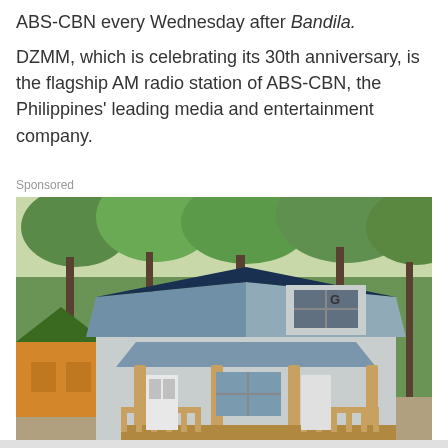ABS-CBN every Wednesday after Bandila.
DZMM, which is celebrating its 30th anniversary, is the flagship AM radio station of ABS-CBN, the Philippines' leading media and entertainment company.
Sponsored
[Figure (photo): A small cabin-style storage shed or tiny house with a blue metal gambrel roof, wooden porch pillars, and a window with a 'G' marker. Set in a wooded background with trees. A smaller orange/yellow shed is visible to the left.]